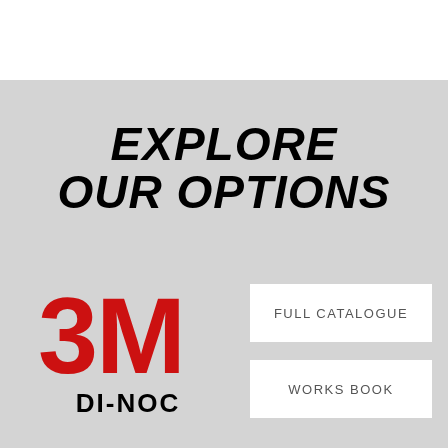EXPLORE OUR OPTIONS
[Figure (logo): 3M DI-NOC logo with red 3M mark and black DI-NOC text]
FULL CATALOGUE
WORKS BOOK